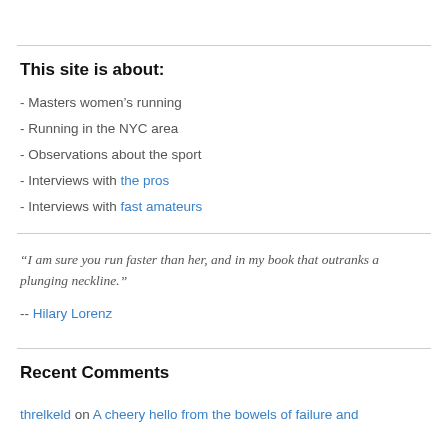This site is about:
- Masters women's running
- Running in the NYC area
- Observations about the sport
- Interviews with the pros
- Interviews with fast amateurs
“I am sure you run faster than her, and in my book that outranks a plunging neckline.” -- Hilary Lorenz
Recent Comments
threlkeld on A cheery hello from the bowels of failure and